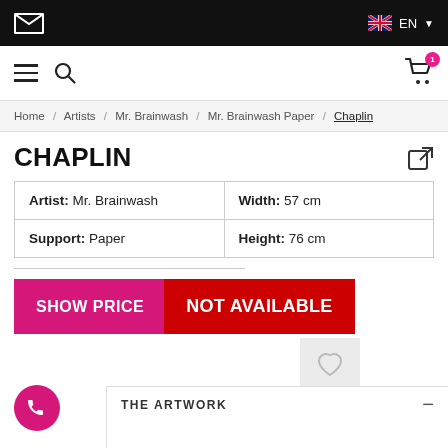EN
Home / Artists / Mr. Brainwash / Mr. Brainwash Paper / Chaplin
CHAPLIN
| Artist: Mr. Brainwash | Width: 57 cm |
| Support: Paper | Height: 76 cm |
SHOW PRICE
NOT AVAILABLE
THE ARTWORK